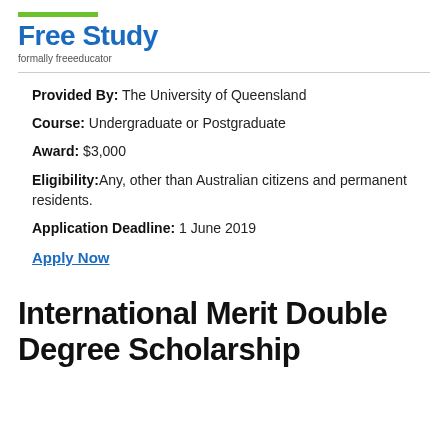Free Study formally freeeducator
Provided By: The University of Queensland
Course: Undergraduate or Postgraduate
Award: $3,000
Eligibility: Any, other than Australian citizens and permanent residents.
Application Deadline: 1 June 2019
Apply Now
International Merit Double Degree Scholarship